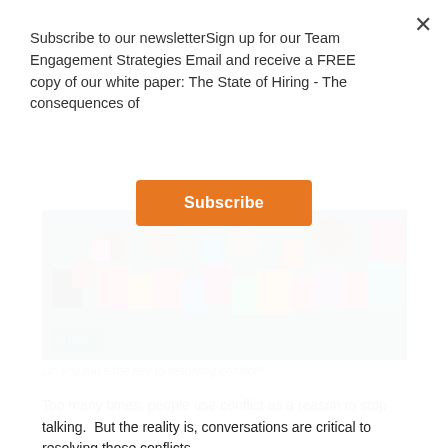Subscribe to our newsletterSign up for our Team Engagement Strategies Email and receive a FREE copy of our white paper: The State of Hiring - The consequences of
Subscribe
[Figure (photo): A close-up photo of many colorful padlocks/love locks clustered together, with a small orange THINK logo visible in the lower left corner.]
Do you have the key to resolving conflict?
Too many times, people use conflict as a reason to stop talking.  But the reality is, conversations are critical to resolving those conflicts.